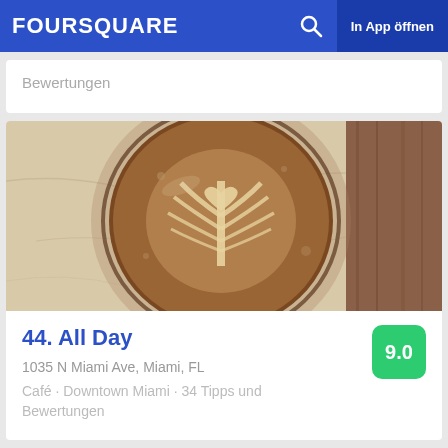FOURSQUARE  🔍  In App öffnen
Bewertungen
[Figure (photo): Top-down photo of a latte art coffee in a glass cup on a marble surface, with a heart/leaf pattern in the foam]
44. All Day
1035 N Miami Ave, Miami, FL
Café · Downtown Miami · 34 Tipps und Bewertungen
[Figure (photo): Partial bottom strip showing thumbnails of another venue]